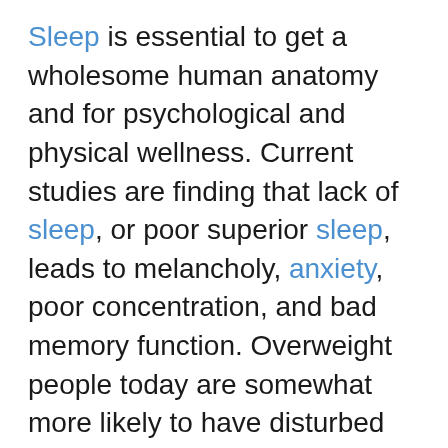Sleep is essential to get a wholesome human anatomy and for psychological and physical wellness. Current studies are finding that lack of sleep, or poor superior sleep, leads to melancholy, anxiety, poor concentration, and bad memory function. Overweight people today are somewhat more likely to have disturbed sleep due to excess body weight mass and inadequate circulation due to raised human body weight percentage. A weighted blanket can add additional excess and additional stress into the spine. Weighted bedsheets can contribute to additional strain in the spine and may also subscribe to other health problems like back ache, poor posture, and pain from other fields of the body.